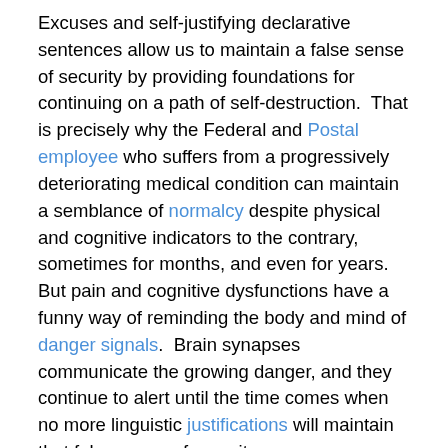Excuses and self-justifying declarative sentences allow us to maintain a false sense of security by providing foundations for continuing on a path of self-destruction. That is precisely why the Federal and Postal employee who suffers from a progressively deteriorating medical condition can maintain a semblance of normalcy despite physical and cognitive indicators to the contrary, sometimes for months, and even for years. But pain and cognitive dysfunctions have a funny way of reminding the body and mind of danger signals. Brain synapses communicate the growing danger, and they continue to alert until the time comes when no more linguistic justifications will maintain that false sense of security.
When that time comes, the Federal or Postal worker must consider the option of filing for Federal Disability Retirement benefits, whether under FERS or CSRS.